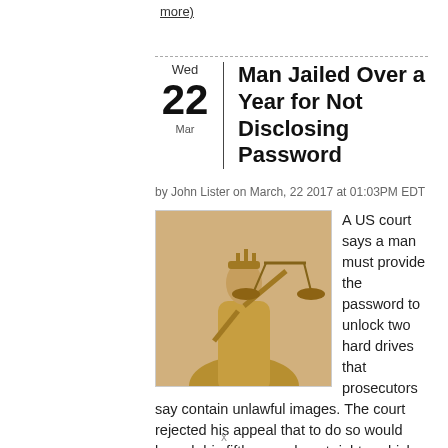more)
Man Jailed Over a Year for Not Disclosing Password
by John Lister on March, 22 2017 at 01:03PM EDT
[Figure (photo): Bronze Lady Justice statue holding scales of justice]
A US court says a man must provide the password to unlock two hard drives that prosecutors say contain unlawful images. The court rejected his appeal that to do so would breach his fifth amendment rights, which roughly translate to: "No person shall... (view more)